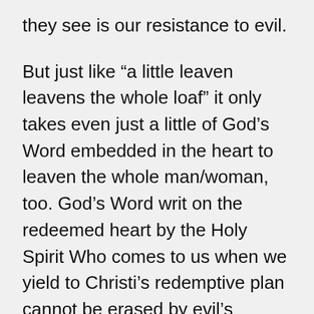they see is our resistance to evil.
But just like “a little leaven leavens the whole loaf” it only takes even just a little of God’s Word embedded in the heart to leaven the whole man/woman, too. God’s Word writ on the redeemed heart by the Holy Spirit Who comes to us when we yield to Christi’s redemptive plan cannot be erased by evil’s mechanisms. And we can only imagine what more there is of this kind of freedom-by-yielding as we glean more and more of the Word to lead, direct, and guide us.
Indeed, times of persecution seem only to cause greater growth and strength. It’s like